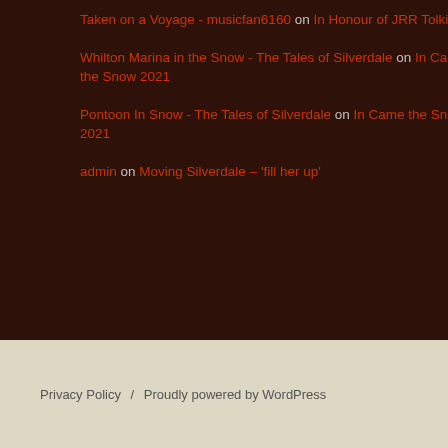Taken on a Voyage - musicfan6160 on In Honour of JRR Tolkien
Whilton Marina in the Snow - The Tales of Silverdale on In Came the Snow 2021
Pontoon In Snow - The Tales of Silverdale on In Came the Snow 2021
admin on Moving Silverdale – 'fill her up'
Privacy Policy / Proudly powered by WordPress